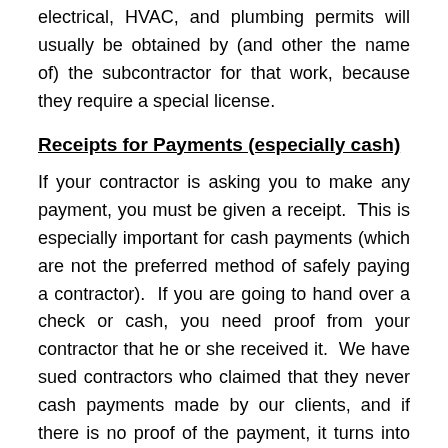electrical, HVAC, and plumbing permits will usually be obtained by (and other the name of) the subcontractor for that work, because they require a special license.
Receipts for Payments (especially cash)
If your contractor is asking you to make any payment, you must be given a receipt. This is especially important for cash payments (which are not the preferred method of safely paying a contractor). If you are going to hand over a check or cash, you need proof from your contractor that he or she received it. We have sued contractors who claimed that they never cash payments made by our clients, and if there is no proof of the payment, it turns into the homeowner's word against the contractor's. This is a bad position to be in at trial. Demand that the contractor give you a dated, written receipt showing the amount you